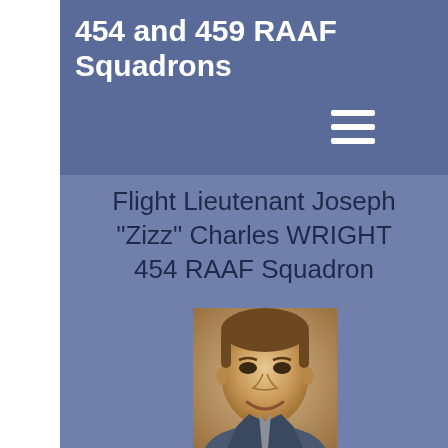454 and 459 RAAF Squadrons
Flight Lieutenant Joseph "Zizz" Charles WRIGHT
454 RAAF Squadron
[Figure (photo): Vintage black-and-white portrait photograph of Flight Lieutenant Joseph "Zizz" Charles WRIGHT, showing a smiling man in military attire]